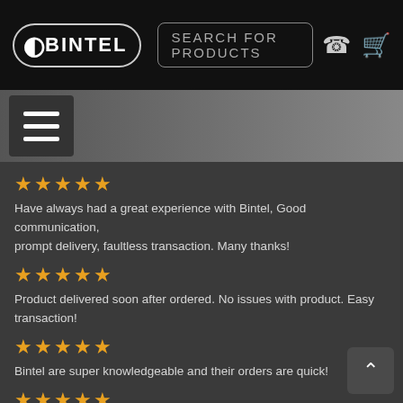[Figure (screenshot): Bintel website navigation bar with logo, search box, phone and cart icons]
[Figure (screenshot): Gray menu banner with hamburger menu button]
★★★★★
Have always had a great experience with Bintel, Good communication, prompt delivery, faultless transaction. Many thanks!
★★★★★
Product delivered soon after ordered. No issues with product. Easy transaction!
★★★★★
Bintel are super knowledgeable and their orders are quick!
★★★★★
Bintel is the best telescope shop. Their delivery is top notch. They pretty much have all the accessories for telescopes. Their agents help you with the